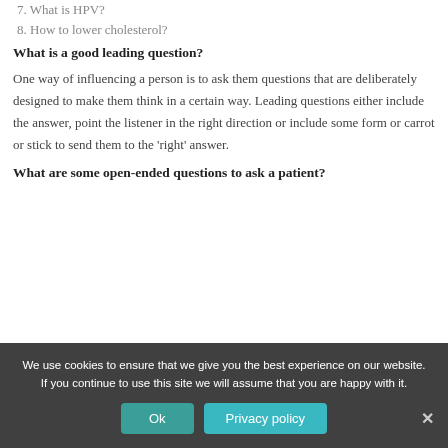7. What is HPV?
8. How to lower cholesterol?
What is a good leading question?
One way of influencing a person is to ask them questions that are deliberately designed to make them think in a certain way. Leading questions either include the answer, point the listener in the right direction or include some form or carrot or stick to send them to the 'right' answer.
What are some open-ended questions to ask a patient?
We use cookies to ensure that we give you the best experience on our website. If you continue to use this site we will assume that you are happy with it.